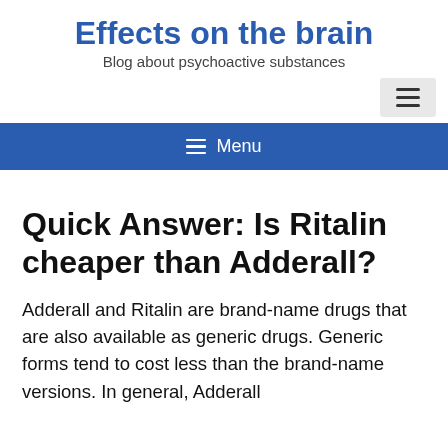Effects on the brain
Blog about psychoactive substances
[Figure (other): Hamburger menu button icon in a light gray box, positioned top right]
[Figure (other): Blue navigation bar with hamburger icon and Menu text]
Quick Answer: Is Ritalin cheaper than Adderall?
Adderall and Ritalin are brand-name drugs that are also available as generic drugs. Generic forms tend to cost less than the brand-name versions. In general, Adderall